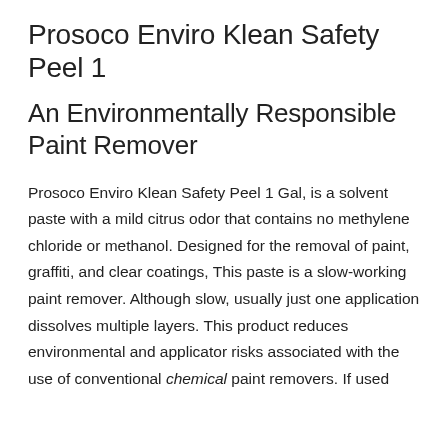Prosoco Enviro Klean Safety Peel 1
An Environmentally Responsible Paint Remover
Prosoco Enviro Klean Safety Peel 1 Gal, is a solvent paste with a mild citrus odor that contains no methylene chloride or methanol. Designed for the removal of paint, graffiti, and clear coatings, This paste is a slow-working paint remover. Although slow, usually just one application dissolves multiple layers. This product reduces environmental and applicator risks associated with the use of conventional chemical paint removers. If used